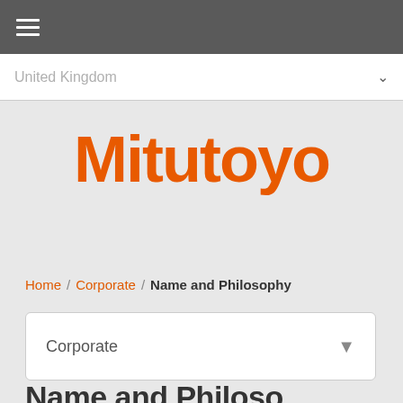☰ (hamburger menu)
United Kingdom
[Figure (logo): Mitutoyo logo in orange text]
Home / Corporate / Name and Philosophy
Corporate ▾
Name and Philos...